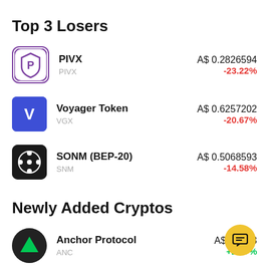Top 3 Losers
PIVX / PIVX — A$ 0.2826594 / -23.22%
Voyager Token / VGX — A$ 0.6257202 / -20.67%
SONM (BEP-20) / SNM — A$ 0.5068593 / -14.58%
Newly Added Cryptos
Anchor Protocol / ANC — A$ 0.1[…]3 / +2.97%